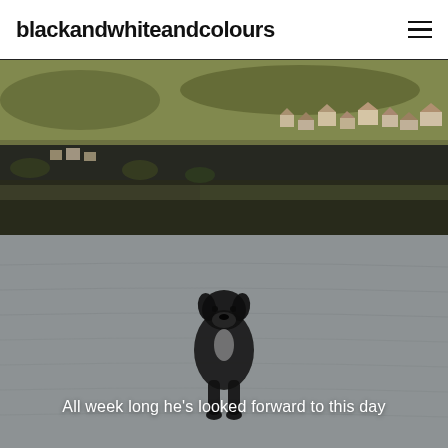blackandwhiteandcolours
[Figure (photo): Aerial photograph of a small village/town nestled in hilly terrain, showing houses, roads, and dark water or flood areas, with golden-brown hillsides in the background.]
[Figure (photo): Black and white photograph of a dark dog walking toward the camera across a sandy or wet beach surface.]
All week long he's looked forward to this day